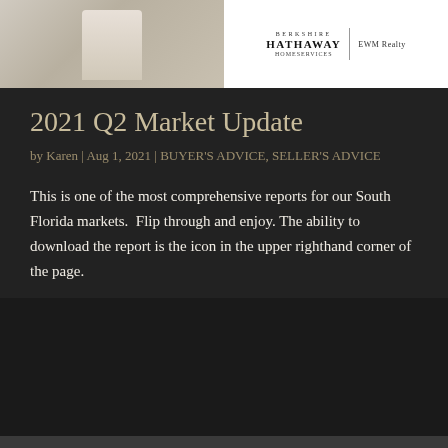[Figure (photo): Top banner image split into two halves: left side shows a person in white clothing (partial view), right side shows Berkshire Hathaway HomeServices | EWM Realty logo on white background]
2021 Q2 Market Update
by Karen | Aug 1, 2021 | BUYER'S ADVICE, SELLER'S ADVICE
This is one of the most comprehensive reports for our South Florida markets.  Flip through and enjoy. The ability to download the report is the icon in the upper righthand corner of the page.